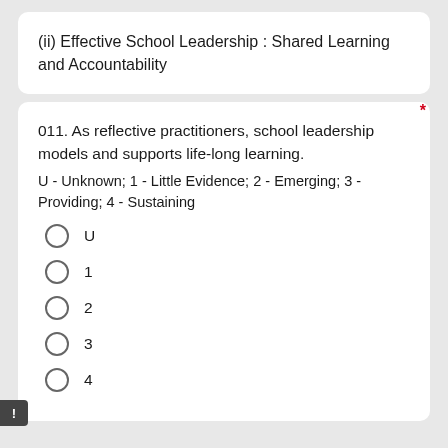(ii) Effective School Leadership : Shared Learning and Accountability
011. As reflective practitioners, school leadership models and supports life-long learning.
U - Unknown; 1 - Little Evidence; 2 - Emerging; 3 - Providing; 4 - Sustaining
U
1
2
3
4